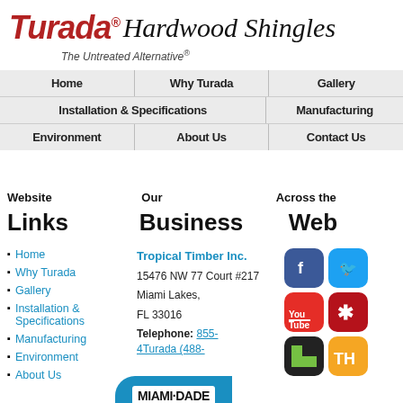Turada® Hardwood Shingles — The Untreated Alternative®
Home
Why Turada
Gallery
Installation & Specifications
Manufacturing
Environment
About Us
Tropical Timber Inc. 15476 NW 77 Court #217 Miami Lakes, FL 33016 Telephone: 855-4Turada (488-...
[Figure (logo): Social media icons: Facebook, Twitter, YouTube, Yelp, Houzz, TH and Miami-Dade badge]